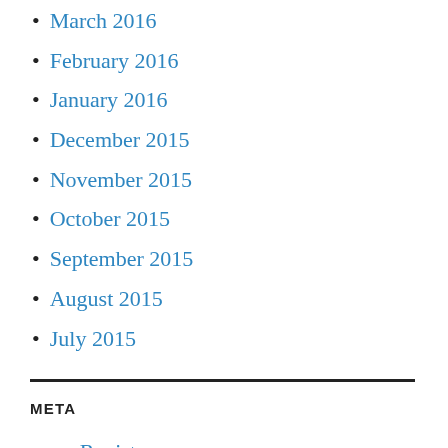March 2016
February 2016
January 2016
December 2015
November 2015
October 2015
September 2015
August 2015
July 2015
META
Register
Log in